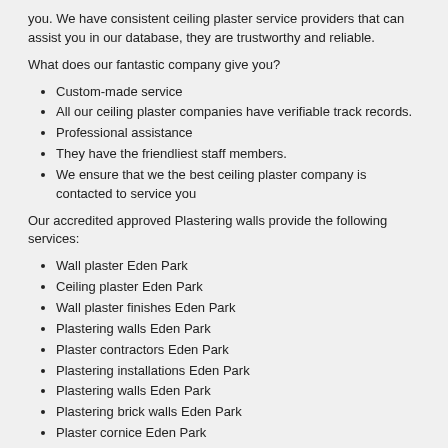you. We have consistent ceiling plaster service providers that can assist you in our database, they are trustworthy and reliable.
What does our fantastic company give you?
Custom-made service
All our ceiling plaster companies have verifiable track records.
Professional assistance
They have the friendliest staff members.
We ensure that we the best ceiling plaster company is contacted to service you
Our accredited approved Plastering walls provide the following services:
Wall plaster Eden Park
Ceiling plaster Eden Park
Wall plaster finishes Eden Park
Plastering walls Eden Park
Plaster contractors Eden Park
Plastering installations Eden Park
Plastering walls Eden Park
Plastering brick walls Eden Park
Plaster cornice Eden Park
Plaster wall repair Eden Park
Plasterer restorations Eden Park
Replaster a house Eden Park
Wall crack repair Eden Park
Plaster finishes Eden Park